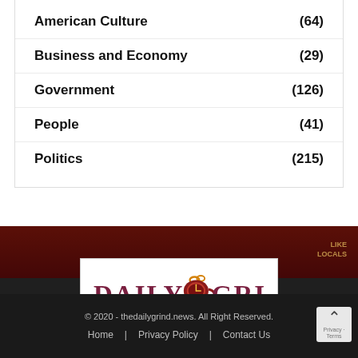American Culture (64)
Business and Economy (29)
Government (126)
People (41)
Politics (215)
[Figure (logo): Daily Grind logo with coffee cup clock icon, white background, maroon serif text]
© 2020 - thedailygrind.news. All Right Reserved.
Home   Privacy Policy   Contact Us